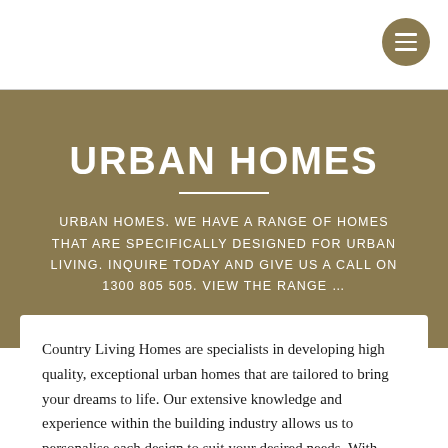URBAN HOMES
URBAN HOMES. WE HAVE A RANGE OF HOMES THAT ARE SPECIFICALLY DESIGNED FOR URBAN LIVING. INQUIRE TODAY AND GIVE US A CALL ON 1300 805 505. VIEW THE RANGE …
Country Living Homes are specialists in developing high quality, exceptional urban homes that are tailored to bring your dreams to life. Our extensive knowledge and experience within the building industry allows us to personalise each design to suit your desired needs. With